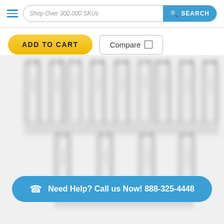Shop Over 300,000 SKUs | SEARCH
ADD TO CART | Compare
[Figure (photo): Multiple rows of industrial gas cylinders/tanks arranged together, blurred/out of focus image]
Need Help? Call us Now! 888-325-4448